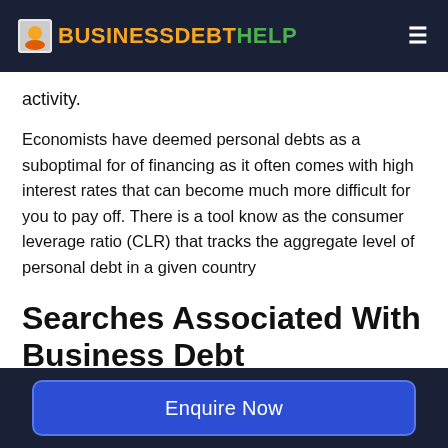BUSINESSDEBTHELP
activity.
Economists have deemed personal debts as a suboptimal for of financing as it often comes with high interest rates that can become much more difficult for you to pay off. There is a tool know as the consumer leverage ratio (CLR) that tracks the aggregate level of personal debt in a given country
Searches Associated With Business Debt
Enquire Now